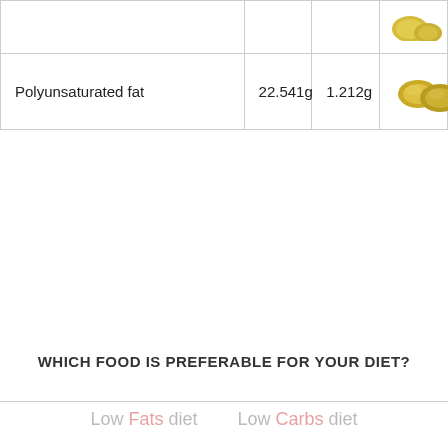|  |  |  |  |
| --- | --- | --- | --- |
|  |  |  |  |
| Polyunsaturated fat | 22.541g | 1.212g | [soybean image] |
WHICH FOOD IS PREFERABLE FOR YOUR DIET?
Low Fats diet   Low Carbs diet